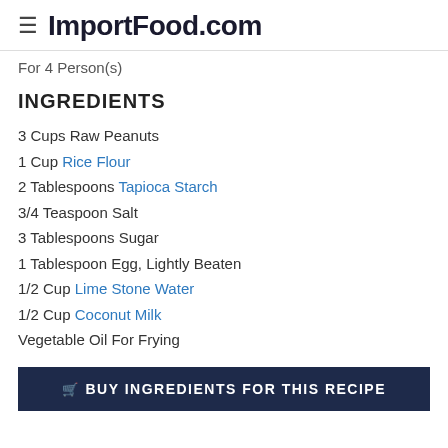ImportFood.com
For 4 Person(s)
INGREDIENTS
3 Cups Raw Peanuts
1 Cup Rice Flour
2 Tablespoons Tapioca Starch
3/4 Teaspoon Salt
3 Tablespoons Sugar
1 Tablespoon Egg, Lightly Beaten
1/2 Cup Lime Stone Water
1/2 Cup Coconut Milk
Vegetable Oil For Frying
BUY INGREDIENTS FOR THIS RECIPE